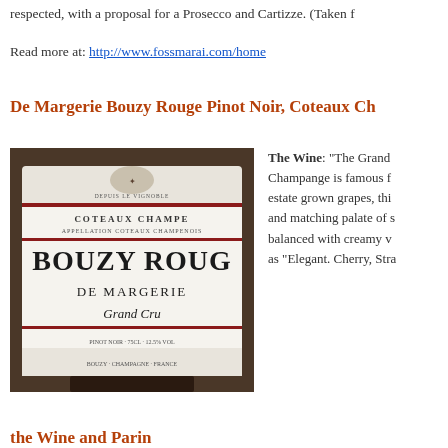respected, with a proposal for a Prosecco and Cartizze. (Taken f
Read more at: http://www.fossmarai.com/home
De Margerie Bouzy Rouge Pinot Noir, Coteaux Ch
[Figure (photo): Bottle label of Bouzy Rouge De Margerie Grand Cru, Coteaux Champenois]
The Wine: “The Grand Champange is famous f estate grown grapes, thi and matching palate of s balanced with creamy v as “Elegant. Cherry, Stra
the Wine and Parin